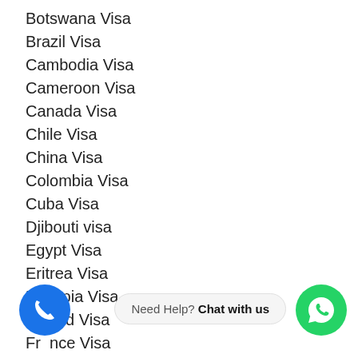Botswana Visa
Brazil Visa
Cambodia Visa
Cameroon Visa
Canada Visa
Chile Visa
China Visa
Colombia Visa
Cuba Visa
Djibouti visa
Egypt Visa
Eritrea Visa
Ethiopia Visa
Finland Visa
France Visa
German Visa